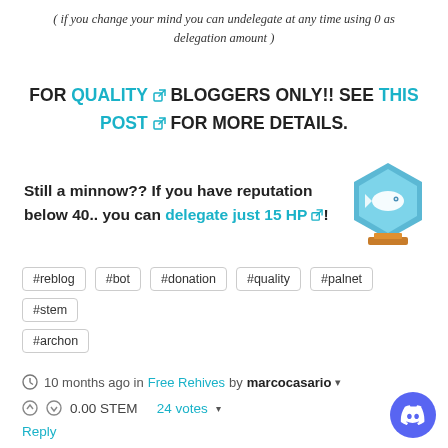( if you change your mind you can undelegate at any time using 0 as delegation amount )
FOR QUALITY BLOGGERS ONLY!! SEE THIS POST FOR MORE DETAILS.
Still a minnow?? If you have reputation below 40.. you can delegate just 15 HP!
#reblog
#bot
#donation
#quality
#palnet
#stem
#archon
10 months ago in Free Rehives by marcocasario
0.00 STEM   24 votes
Reply